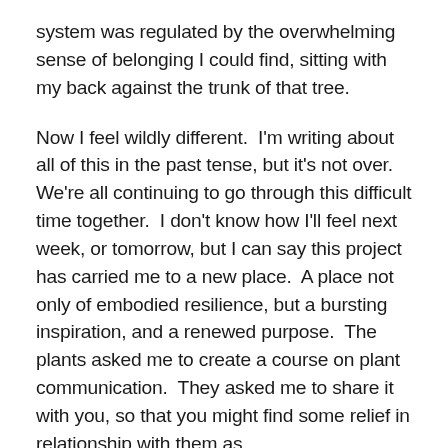system was regulated by the overwhelming sense of belonging I could find, sitting with my back against the trunk of that tree.
Now I feel wildly different.  I'm writing about all of this in the past tense, but it's not over.  We're all continuing to go through this difficult time together.  I don't know how I'll feel next week, or tomorrow, but I can say this project has carried me to a new place.  A place not only of embodied resilience, but a bursting inspiration, and a renewed purpose.  The plants asked me to create a course on plant communication.  They asked me to share it with you, so that you might find some relief in relationship with them as